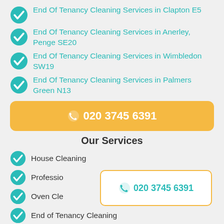End Of Tenancy Cleaning Services in Clapton E5
End Of Tenancy Cleaning Services in Anerley, Penge SE20
End Of Tenancy Cleaning Services in Wimbledon SW19
End Of Tenancy Cleaning Services in Palmers Green N13
020 3745 6391
Our Services
House Cleaning
Professional Ironing
Oven Cleaning
End of Tenancy Cleaning
020 3745 6391